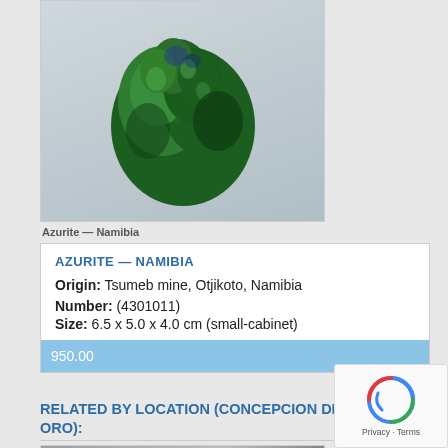[Figure (photo): Dark green malachite/azurite mineral specimen on white background]
Azurite — Namibia
AZURITE — NAMIBIA
Origin: Tsumeb mine, Otjikoto, Namibia
Number: (4301011)
Size: 6.5 x 5.0 x 4.0 cm (small-cabinet)
950.00
RELATED BY LOCATION (CONCEPCION DEL ORO):
[Figure (photo): Mineral specimen on grey background, partially visible at bottom of page]